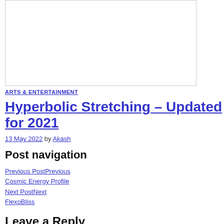[Figure (other): Blank white image box with border]
ARTS & ENTERTAINMENT
Hyperbolic Stretching – Updated for 2021
13 May 2022 by Akash
Post navigation
Previous PostPrevious Cosmic Energy Profile
Next PostNext FlexoBliss
Leave a Reply